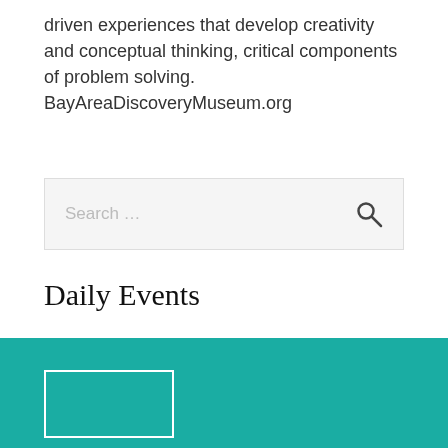driven experiences that develop creativity and conceptual thinking, critical components of problem solving. BayAreaDiscoveryMuseum.org
[Figure (other): Search bar with placeholder text 'Search ...' and a magnifying glass icon]
Daily Events
No events today.
[Figure (other): Teal footer bar with logo box outline]